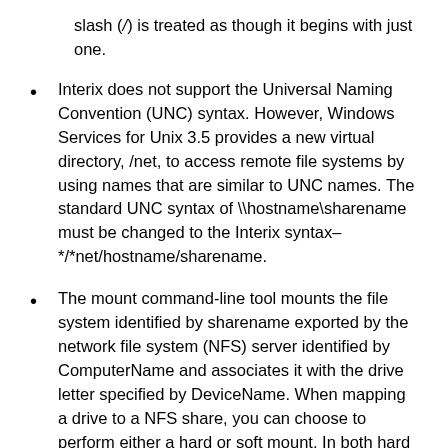slash (/) is treated as though it begins with just one.
Interix does not support the Universal Naming Convention (UNC) syntax. However, Windows Services for Unix 3.5 provides a new virtual directory, /net, to access remote file systems by using names that are similar to UNC names. The standard UNC syntax of \\hostname\sharename must be changed to the Interix syntax–*/*net/hostname/sharename.
The mount command-line tool mounts the file system identified by sharename exported by the network file system (NFS) server identified by ComputerName and associates it with the drive letter specified by DeviceName. When mapping a drive to a NFS share, you can choose to perform either a hard or soft mount. In both hard mount and soft mount options, the application makes a remote procedure call (RPC) to...